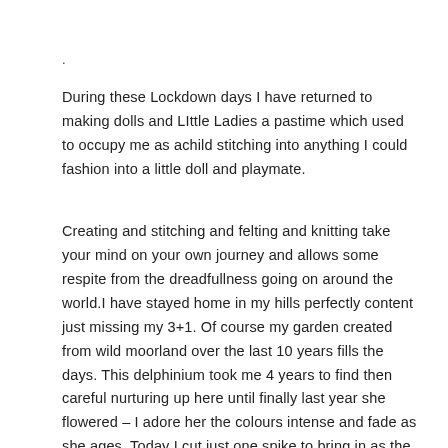.
During these Lockdown days I have returned to making dolls and LIttle Ladies a pastime which used to occupy me as achild stitching into anything I could fashion into a little doll and playmate.
Creating and stitching and felting and knitting take your mind on your own journey and allows some respite from the dreadfullness going on around the world.I have stayed home in my hills perfectly content just missing my 3+1. Of course my garden created from wild moorland over the last 10 years fills the days. This delphinium took me 4 years to find then careful nurturing up here until finally last year she flowered – I adore her the colours intense and fade as she ages. Today I cut just one spike to bring in as the weather is not nice outside today.